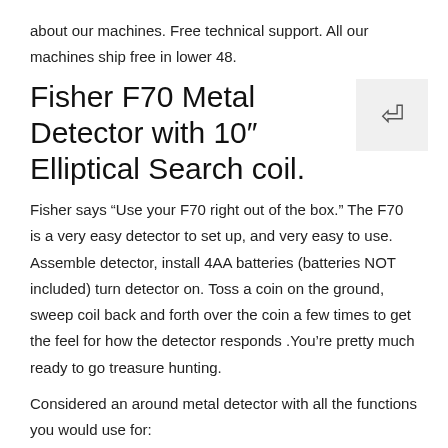about our machines. Free technical support. All our machines ship free in lower 48.
Fisher F70 Metal Detector with 10″ Elliptical Search coil.
Fisher says “Use your F70 right out of the box.” The F70 is a very easy detector to set up, and very easy to use. Assemble detector, install 4AA batteries (batteries NOT included) turn detector on. Toss a coin on the ground, sweep coil back and forth over the coin a few times to get the feel for how the detector responds .You’re pretty much ready to go treasure hunting.
Considered an around metal detector with all the functions you would use for:
- Coin Shooting: including Rings, and Jewelry.
- Relic Hunting: the search for historical artifacts